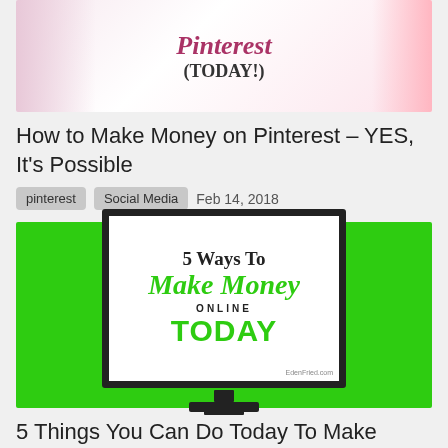[Figure (illustration): Thumbnail image for Pinterest article showing pink/light background with Pinterest text and (TODAY!) subtitle]
How to Make Money on Pinterest – YES, It's Possible
pinterest   Social Media   Feb 14, 2018
[Figure (illustration): Green background with a computer monitor showing '5 Ways To Make Money ONLINE TODAY' - EdenFried.com]
5 Things You Can Do Today To Make Money Online
Blogging   Freelancing   Aug 05, 2016
[Figure (photo): Partial thumbnail image at bottom, dark toned, partially cut off]